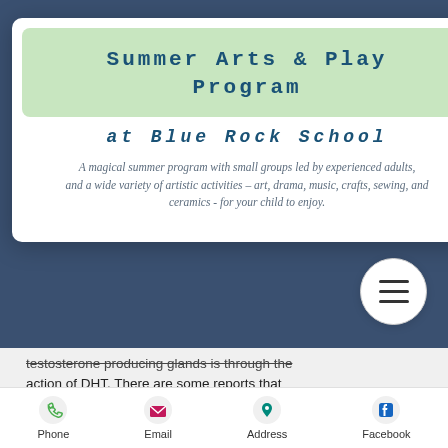Summer Arts & Play Program
at Blue Rock School
A magical summer program with small groups led by experienced adults, and a wide variety of artistic activities – art, drama, music, crafts, sewing, and ceramics - for your child to enjoy.
testosterone producing glands is through the action of DHT. There are some reports that Anavar increases DHT in the liver, but we don't know much about this.
DHT has many action through the endocrine
[Figure (other): Mobile website bottom navigation bar with Phone, Email, Address, and Facebook icons]